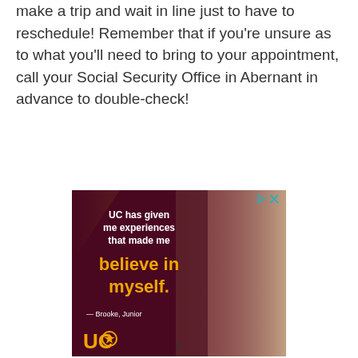make a trip and wait in line just to have to reschedule! Remember that if you're unsure as to what you'll need to bring to your appointment, call your Social Security Office in Abernant in advance to double-check!
[Figure (illustration): Advertisement for UC (University of Cincinnati) featuring a young woman with long brown hair smiling, overlaid on a dark maroon background with diagonal design. Text reads: 'UC has given me experiences that made me believe in myself. — Brooke, Junior' with the UC logo at the bottom.]
v